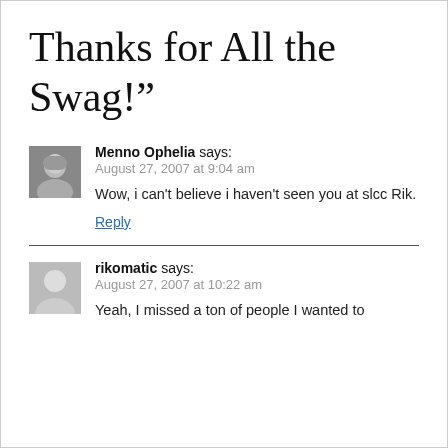Thanks for All the Swag!”
Menno Ophelia says:
August 27, 2007 at 9:04 am

Wow, i can't believe i haven't seen you at slcc Rik.

Reply
rikomatic says:
August 27, 2007 at 10:22 am

Yeah, I missed a ton of people I wanted to